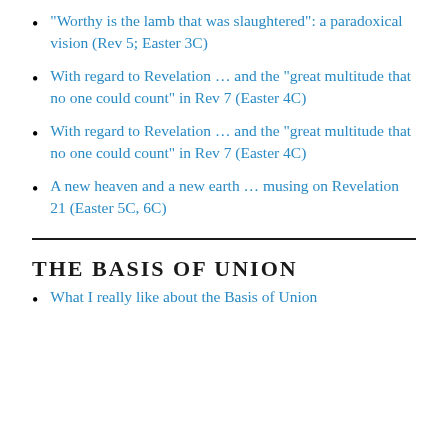“Worthy is the lamb that was slaughtered”: a paradoxical vision (Rev 5; Easter 3C)
With regard to Revelation … and the “great multitude that no one could count” in Rev 7 (Easter 4C)
With regard to Revelation … and the “great multitude that no one could count” in Rev 7 (Easter 4C)
A new heaven and a new earth … musing on Revelation 21 (Easter 5C, 6C)
THE BASIS OF UNION
What I really like about the Basis of Union